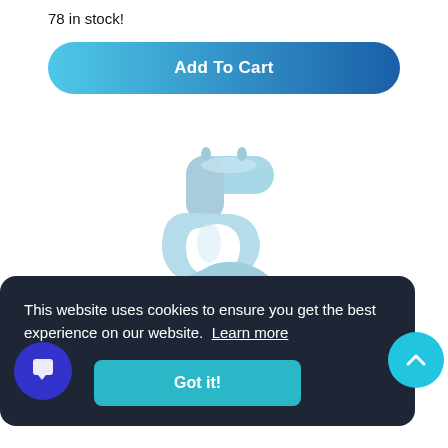78 in stock!
Add To Cart
[Figure (photo): A light blue foil balloon shaped like the number 5, with shiny inflated segments, photographed on a white background.]
This website uses cookies to ensure you get the best experience on our website. Learn more
Got it!